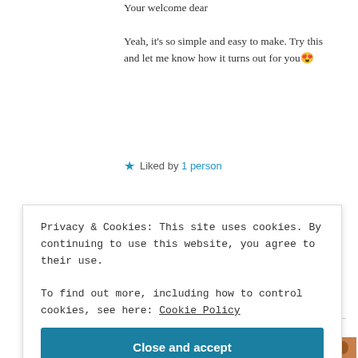Your welcome dear
Yeah, it's so simple and easy to make. Try this and let me know how it turns out for you 😍
★ Liked by 1 person
Reply
Sunshinysa
October 13, 2018 at 9:08 pm
Privacy & Cookies: This site uses cookies. By continuing to use this website, you agree to their use.
To find out more, including how to control cookies, see here: Cookie Policy
Close and accept
October 13, 2018 at 9:14 pm